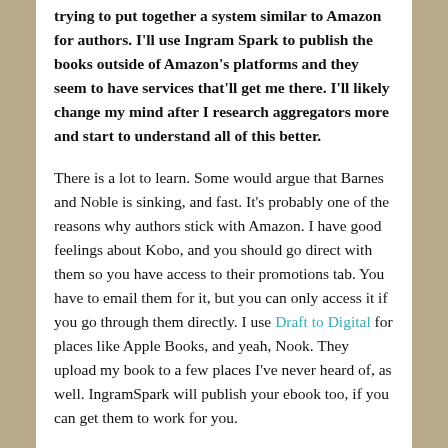trying to put together a system similar to Amazon for authors. I'll use Ingram Spark to publish the books outside of Amazon's platforms and they seem to have services that'll get me there. I'll likely change my mind after I research aggregators more and start to understand all of this better.
There is a lot to learn. Some would argue that Barnes and Noble is sinking, and fast. It's probably one of the reasons why authors stick with Amazon. I have good feelings about Kobo, and you should go direct with them so you have access to their promotions tab. You have to email them for it, but you can only access it if you go through them directly. I use Draft to Digital for places like Apple Books, and yeah, Nook. They upload my book to a few places I've never heard of, as well. IngramSpark will publish your ebook too, if you can get them to work for you.
You released the paperback after the ebook. What was the reason for that?